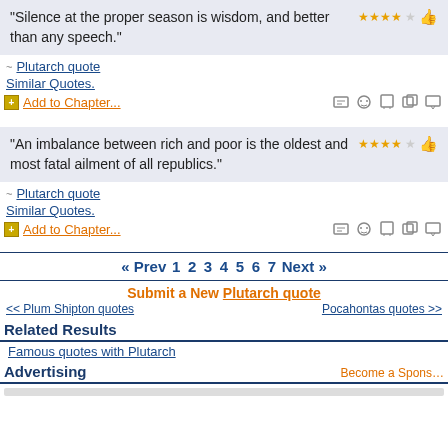“Silence at the proper season is wisdom, and better than any speech.”
~ Plutarch quote
Similar Quotes.
Add to Chapter...
“An imbalance between rich and poor is the oldest and most fatal ailment of all republics.”
~ Plutarch quote
Similar Quotes.
Add to Chapter...
« Prev  1 2 3 4 5 6 7  Next »
Submit a New Plutarch quote
<< Plum Shipton quotes    Pocahontas quotes >>
Related Results
Famous quotes with Plutarch
Advertising
Become a Spons...